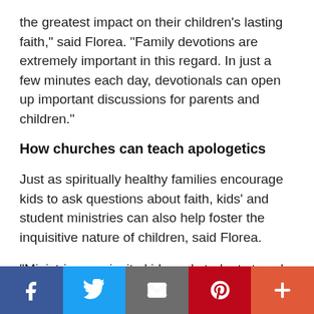the greatest impact on their children's lasting faith," said Florea. "Family devotions are extremely important in this regard. In just a few minutes each day, devotionals can open up important discussions for parents and children."
How churches can teach apologetics
Just as spiritually healthy families encourage kids to ask questions about faith, kids' and student ministries can also help foster the inquisitive nature of children, said Florea.
"Ministries can invite kids and students to ask questions about their faith," he said. "This can be done anonymously. Then, once a month, leaders can select a
Facebook | Twitter | Email | Pinterest | More